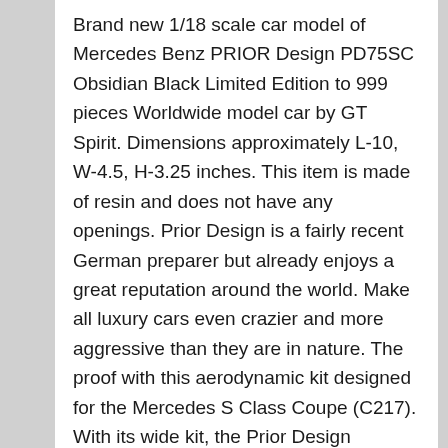Brand new 1/18 scale car model of Mercedes Benz PRIOR Design PD75SC Obsidian Black Limited Edition to 999 pieces Worldwide model car by GT Spirit. Dimensions approximately L-10, W-4.5, H-3.25 inches. This item is made of resin and does not have any openings. Prior Design is a fairly recent German preparer but already enjoys a great reputation around the world. Make all luxury cars even crazier and more aggressive than they are in nature. The proof with this aerodynamic kit designed for the Mercedes S Class Coupe (C217). With its wide kit, the Prior Design PD75SC is ready to become the villains car in a Hollywood blockbuster! Tracking info is free upon request. We appreciate your business. More than 10 Years of Experience. Our feedback says it all. A